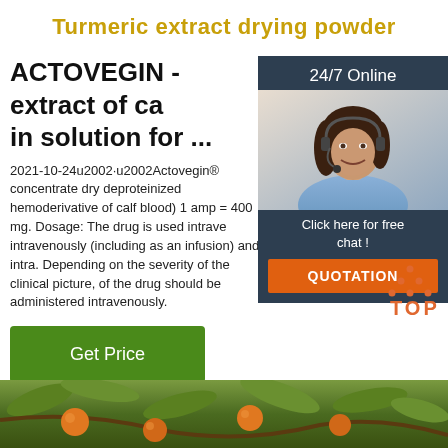Turmeric extract drying powder
ACTOVEGIN - extract of ca in solution for ...
2021-10-24u2002·u2002Actovegin® concentrate dry deproteinized hemoderivative of calf blood) 1 amp = 400 mg. Dosage: The drug is used intravenously (including as an infusion) and intra. Depending on the severity of the clinical picture, of the drug should be administered intravenously.
[Figure (photo): Woman with headset smiling, customer service representative, with 24/7 Online label and Click here for free chat text, and QUOTATION orange button]
Get Price
[Figure (photo): Orange fruits on tree branches with green leaves, bottom banner image]
[Figure (logo): TOP arrow logo with orange dots arranged in triangle above the word TOP in orange]